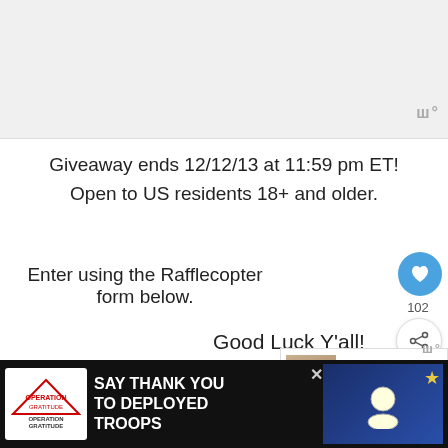[Figure (other): Light gray placeholder area at top of page representing an advertisement or image]
Giveaway ends 12/12/13 at 11:59 pm ET! Open to US residents 18+ and older.
Enter using the Rafflecopter form below.
Good Luck Y'all!
a Rafflecopter giveaway
[Figure (screenshot): Ad banner: Operation Gratitude - SAY THANK YOU TO DEPLOYED TROOPS]
[Figure (other): WHAT'S NEXT panel showing Modgy Portable...]